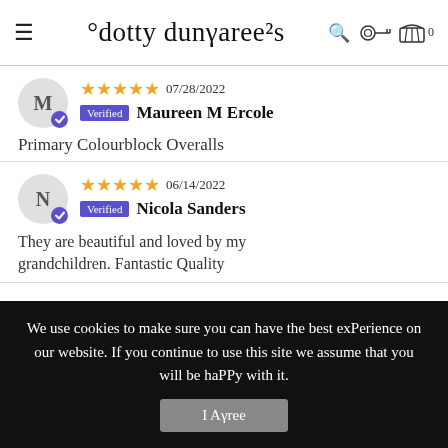dotty dungarees
★★★★★ 07/28/2022 Verified Maureen M Ercole
Primary Colourblock Overalls
★★★★★ 06/14/2022 Verified Nicola Sanders
They are beautiful and loved by my grandchildren. Fantastic Quality
We use cookies to make sure you can have the best exPerience on our website. If you continue to use this site we assume that you will be haPPy with it.
I Agree